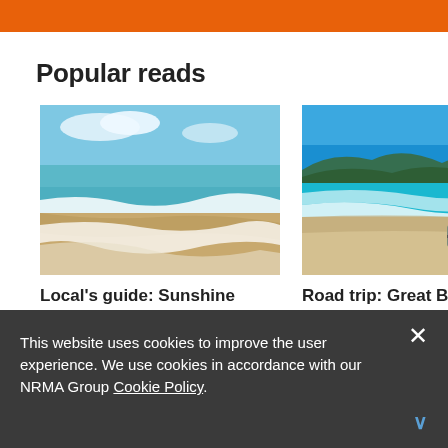Popular reads
[Figure (photo): Beach scene with waves washing up on sandy shore, blue sky and turquoise water]
Local's guide: Sunshine Coast
[Figure (photo): Beach scene with blue water, mountains in background, and a vehicle parked on the beach]
Road trip: Great B Drive
This website uses cookies to improve the user experience. We use cookies in accordance with our NRMA Group Cookie Policy.